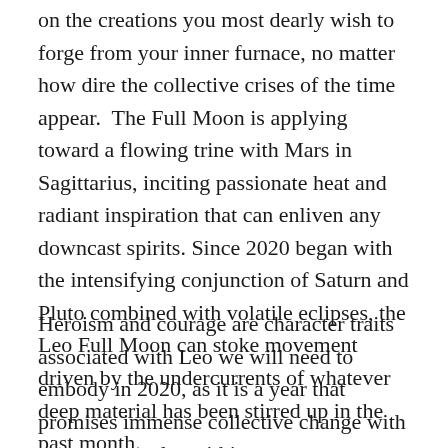on the creations you most dearly wish to forge from your inner furnace, no matter how dire the collective crises of the time appear. The Full Moon is applying toward a flowing trine with Mars in Sagittarius, inciting passionate heat and radiant inspiration that can enliven any downcast spirits. Since 2020 began with the intensifying conjunction of Saturn and Pluto combined with volatile eclipses, the Leo Full Moon can stoke movement driven by the undercurrents of whatever deep material has been stirred up in the past month.
Heroism and courage are character traits associated with Leo we will need to embody in 2020, as it is a year that promises immense collective change with numerous cycles within